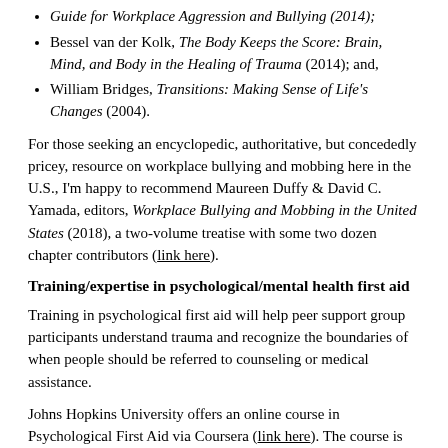Guide for Workplace Aggression and Bullying (2014);
Bessel van der Kolk, The Body Keeps the Score: Brain, Mind, and Body in the Healing of Trauma (2014); and,
William Bridges, Transitions: Making Sense of Life's Changes (2004).
For those seeking an encyclopedic, authoritative, but concededly pricey, resource on workplace bullying and mobbing here in the U.S., I'm happy to recommend Maureen Duffy & David C. Yamada, editors, Workplace Bullying and Mobbing in the United States (2018), a two-volume treatise with some two dozen chapter contributors (link here).
Training/expertise in psychological/mental health first aid
Training in psychological first aid will help peer support group participants understand trauma and recognize the boundaries of when people should be referred to counseling or medical assistance.
Johns Hopkins University offers an online course in Psychological First Aid via Coursera (link here). The course is free, with a modest charge to receive certification: